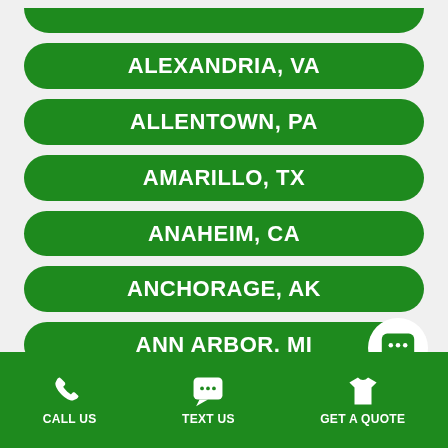ALEXANDRIA, VA
ALLENTOWN, PA
AMARILLO, TX
ANAHEIM, CA
ANCHORAGE, AK
ANN ARBOR, MI
CALL US  TEXT US  GET A QUOTE